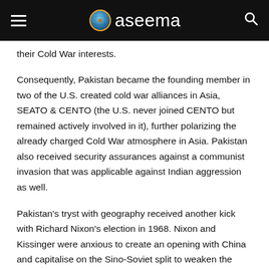aseema
their Cold War interests.
Consequently, Pakistan became the founding member in two of the U.S. created cold war alliances in Asia, SEATO & CENTO (the U.S. never joined CENTO but remained actively involved in it), further polarizing the already charged Cold War atmosphere in Asia. Pakistan also received security assurances against a communist invasion that was applicable against Indian aggression as well.
Pakistan's tryst with geography received another kick with Richard Nixon's election in 1968. Nixon and Kissinger were anxious to create an opening with China and capitalise on the Sino-Soviet split to weaken the Soviet and the communist bloc. Pakistan, while being an ally of the West, also shared